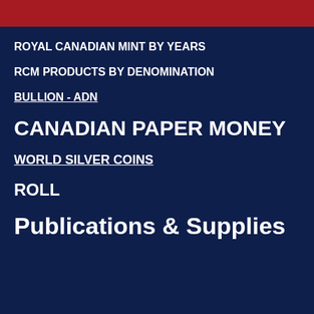ROYAL CANADIAN MINT BY YEARS
RCM PRODUCTS BY DENOMINATION
BULLION - ADN
CANADIAN PAPER MONEY
WORLD SILVER COINS
ROLL
Publications & Supplies